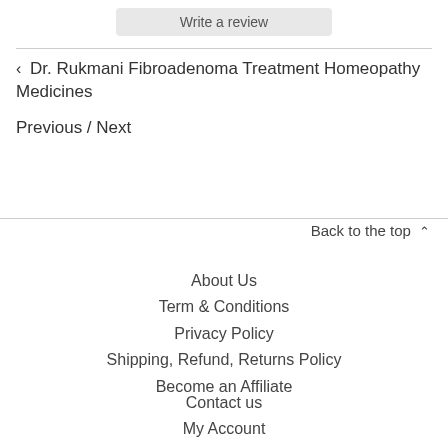Write a review
‹ Dr. Rukmani Fibroadenoma Treatment Homeopathy Medicines
Previous / Next
Back to the top ^
About Us
Term & Conditions
Privacy Policy
Shipping, Refund, Returns Policy
Become an Affiliate
Contact us
My Account